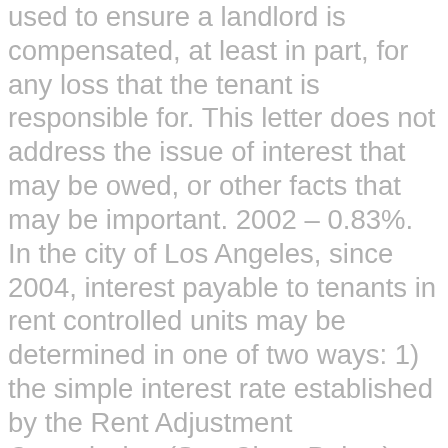used to ensure a landlord is compensated, at least in part, for any loss that the tenant is responsible for. This letter does not address the issue of interest that may be owed, or other facts that may be important. 2002 – 0.83%. In the city of Los Angeles, since 2004, interest payable to tenants in rent controlled units may be determined in one of two ways: 1) the simple interest rate established by the Rent Adjustment Commission (See Chart Below); or 2) the actual amount earned on the security deposit. Can you use the security deposit as last month's rent in California? A security deposit safeguards a landlord in the event a tenant breaks a lease or damages a rental unit. The landlord may charge more for alterations to the rental unit (apart from those cleaning and repairs costs charged to the previous tenant) that the tenant and the landlord have mutually agreed on. If your landlord does not return the deposit, or if you disagree with the amounts deducted, you can sue in Small Claims Court. However, they